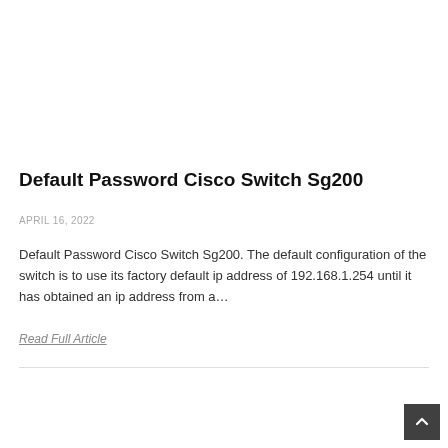Default Password Cisco Switch Sg200
APRIL 16, 2022
Default Password Cisco Switch Sg200. The default configuration of the switch is to use its factory default ip address of 192.168.1.254 until it has obtained an ip address from a…
Read Full Article